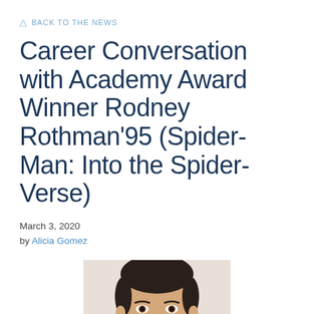◁ BACK TO THE NEWS
Career Conversation with Academy Award Winner Rodney Rothman'95 (Spider-Man: Into the Spider-Verse)
March 3, 2020
by Alicia Gomez
[Figure (photo): Headshot photo of Rodney Rothman, a man with dark hair, cropped at the chin, centered on the page.]